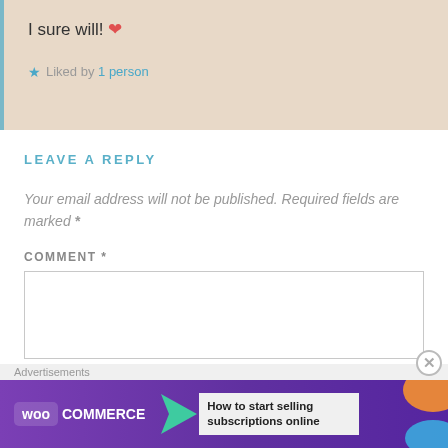I sure will! ❤
★ Liked by 1 person
LEAVE A REPLY
Your email address will not be published. Required fields are marked *
COMMENT *
[Figure (screenshot): WooCommerce advertisement banner: 'How to start selling subscriptions online']